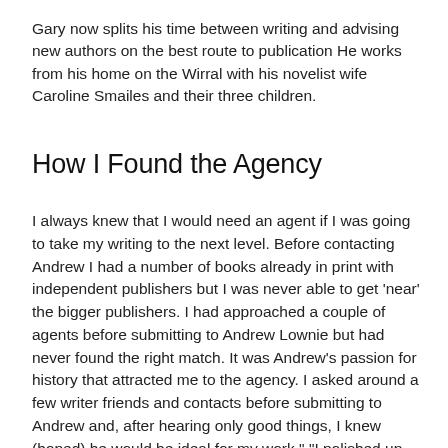Gary now splits his time between writing and advising new authors on the best route to publication He works from his home on the Wirral with his novelist wife Caroline Smailes and their three children.
How I Found the Agency
I always knew that I would need an agent if I was going to take my writing to the next level. Before contacting Andrew I had a number of books already in print with independent publishers but I was never able to get 'near' the bigger publishers. I had approached a couple of agents before submitting to Andrew Lownie but had never found the right match. It was Andrew's passion for history that attracted me to the agency. I asked around a few writer friends and contacts before submitting to Andrew and, after hearing only good things, I knew (hoped) he would be ideal for my work." "I polished up my submission and sent off my book with fingers crossed. There are no words that